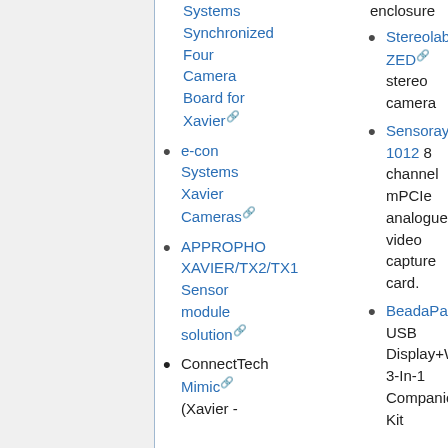e-con Systems Synchronized Four Camera Board for Xavier
e-con Systems Xavier Cameras
APPROPHO XAVIER/TX2/TX1 Sensor module solution
ConnectTech Mimic (Xavier -
Stereolabs ZED stereo camera
Sensoray 1012 8 channel mPCIe analogue video capture card.
BeadaPanel USB Display+WiFi+Storage 3-In-1 Companion Kit